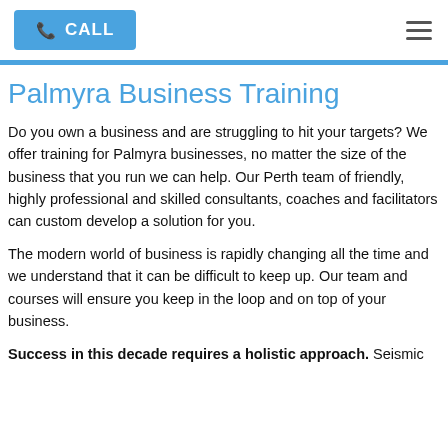CALL
Palmyra Business Training
Do you own a business and are struggling to hit your targets? We offer training for Palmyra businesses, no matter the size of the business that you run we can help. Our Perth team of friendly, highly professional and skilled consultants, coaches and facilitators can custom develop a solution for you.
The modern world of business is rapidly changing all the time and we understand that it can be difficult to keep up. Our team and courses will ensure you keep in the loop and on top of your business.
Success in this decade requires a holistic approach. Seismic